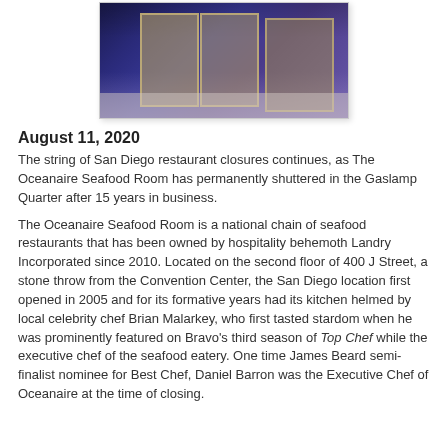[Figure (photo): Exterior night photo of The Oceanaire Seafood Room entrance, showing glass doors and building facade with purple/blue lighting]
August 11, 2020
The string of San Diego restaurant closures continues, as The Oceanaire Seafood Room has permanently shuttered in the Gaslamp Quarter after 15 years in business.
The Oceanaire Seafood Room is a national chain of seafood restaurants that has been owned by hospitality behemoth Landry Incorporated since 2010. Located on the second floor of 400 J Street, a stone throw from the Convention Center, the San Diego location first opened in 2005 and for its formative years had its kitchen helmed by local celebrity chef Brian Malarkey, who first tasted stardom when he was prominently featured on Bravo's third season of Top Chef while the executive chef of the seafood eatery. One time James Beard semi-finalist nominee for Best Chef, Daniel Barron was the Executive Chef of Oceanaire at the time of closing.